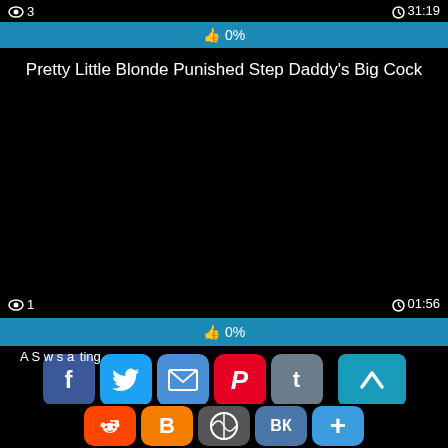3   31:19
👍 0%
Pretty Little Blonde Punished Step Daddy's Big Cock
[Figure (screenshot): Black video player area]
1   01:56
👍 0%
A S w s a ting
[Figure (infographic): Social sharing icons: Facebook, Twitter, Email, Pinterest, Tumblr, scroll-up button, Reddit, Blogger, WordPress, VK, More]